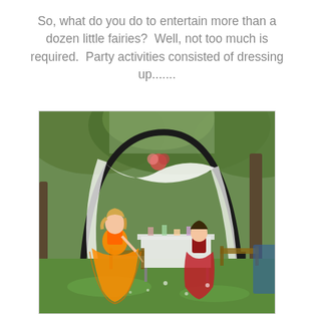So, what do you do to entertain more than a dozen little fairies?  Well, not too much is required.  Party activities consisted of dressing up.......
[Figure (photo): Outdoor fairy party scene with a metal garden arch decorated with white draped fabric and flowers. Children dressed in fairy/princess costumes including a girl in a large orange tulle skirt dress in the foreground and another in a red tulle dress near a decorated party table set on green grass beneath leafy trees.]